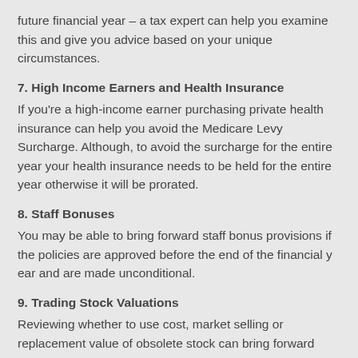future financial year – a tax expert can help you examine this and give you advice based on your unique circumstances.
7. High Income Earners and Health Insurance
If you're a high-income earner purchasing private health insurance can help you avoid the Medicare Levy Surcharge. Although, to avoid the surcharge for the entire year your health insurance needs to be held for the entire year otherwise it will be prorated.
8. Staff Bonuses
You may be able to bring forward staff bonus provisions if the policies are approved before the end of the financial year and are made unconditional.
9. Trading Stock Valuations
Reviewing whether to use cost, market selling or replacement value of obsolete stock can bring forward deductions into